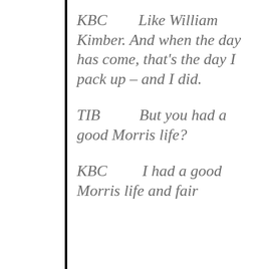KBC        Like William Kimber. And when the day has come, that's the day I pack up – and I did.
TIB        But you had a good Morris life?
KBC        I had a good Morris life and fair